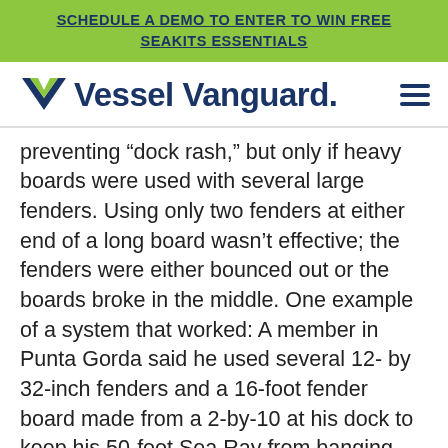SCHEDULE A DEMO TO ENTER TO WIN FREE SEAKITS ESSENTIALS
[Figure (logo): Vessel Vanguard logo with V chevron mark and hamburger menu icon]
preventing “dock rash,” but only if heavy boards were used with several large fenders. Using only two fenders at either end of a long board wasn’t effective; the fenders were either bounced out or the boards broke in the middle. One example of a system that worked: A member in Punta Gorda said he used several 12- by 32-inch fenders and a 16-foot fender board made from a 2-by-10 at his dock to keep his 50-foot Sea Ray from banging against a piling during a hurricane. The member credits the fender board for